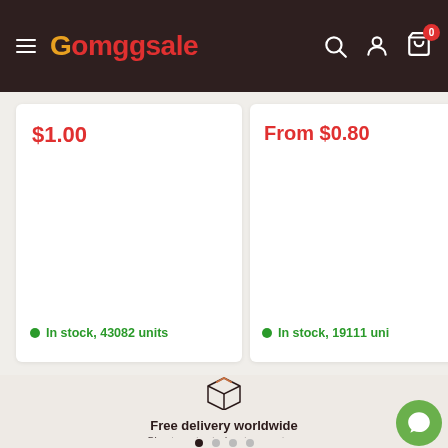Gomggsale — navigation header with hamburger menu, logo, search, account, and cart icons
$1.00
In stock, 43082 units
From $0.80
In stock, 19111 uni
[Figure (illustration): Box/package icon representing free delivery]
Free delivery worldwide
Short content about your store
● ● ● ●  (carousel dots)